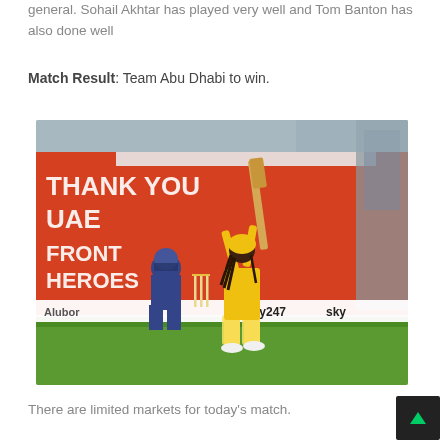general. Sohail Akhtar has played very well and Tom Banton has also done well
Match Result: Team Abu Dhabi to win.
[Figure (photo): Cricket player in yellow uniform raising a cricket bat above their head, with a wicketkeeper in blue behind stumps. Background shows red advertising boards reading 'THANK YOU UAE FRONTLINE HEROES', and white boards showing 'Alubo' and 'Sky247 Sky' logos.]
There are limited markets for today's match.